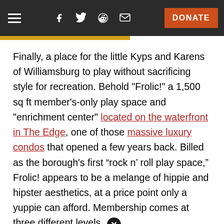Navigation bar with hamburger menu, social icons (Facebook, Twitter, Reddit, Email), and DONATE button
Finally, a place for the little Kyps and Karens of Williamsburg to play without sacrificing style for recreation. Behold "Frolic!" a 1,500 sq ft member's-only play space and "enrichment center" located on the waterfront in The Edge, one of those massive luxury condos that opened a few years back. Billed as the borough's first “rock n’ roll play space,” Frolic! appears to be a melange of hippie and hipster aesthetics, at a price point only a yuppie can afford. Membership comes at three different levels, starting at $828 a year for the basic "Guest List"